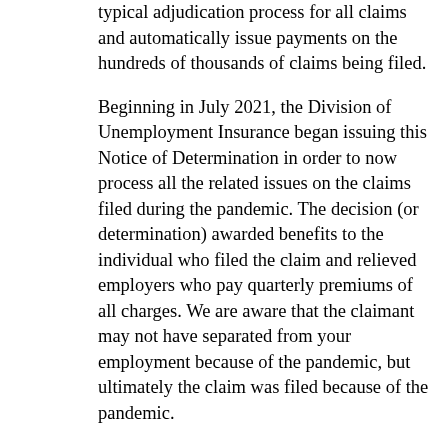typical adjudication process for all claims and automatically issue payments on the hundreds of thousands of claims being filed.
Beginning in July 2021, the Division of Unemployment Insurance began issuing this Notice of Determination in order to now process all the related issues on the claims filed during the pandemic. The decision (or determination) awarded benefits to the individual who filed the claim and relieved employers who pay quarterly premiums of all charges. We are aware that the claimant may not have separated from your employment because of the pandemic, but ultimately the claim was filed because of the pandemic.
If you are a premium paying employer:
If you pay quarterly unemployment insurance premiums, your account will not be charged as a result of these decisions.